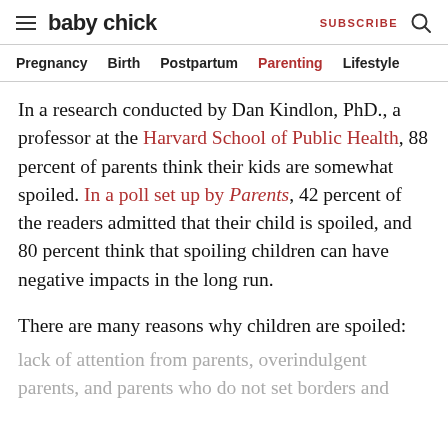baby chick | SUBSCRIBE
Pregnancy  Birth  Postpartum  Parenting  Lifestyle
In a research conducted by Dan Kindlon, PhD., a professor at the Harvard School of Public Health, 88 percent of parents think their kids are somewhat spoiled. In a poll set up by Parents, 42 percent of the readers admitted that their child is spoiled, and 80 percent think that spoiling children can have negative impacts in the long run.
There are many reasons why children are spoiled:
lack of attention from parents, overindulgent parents, and parents who do not set borders and